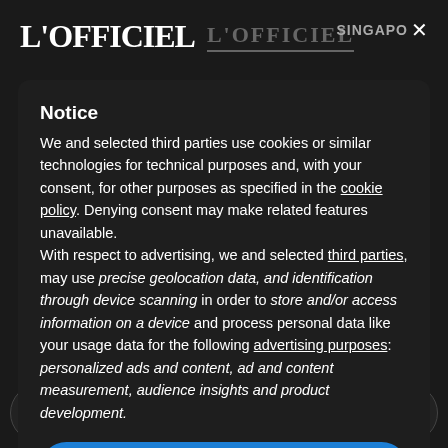L'OFFICIEL  L'OFFICIEL  SINGAPO X
BEAUTY
Notice
We and selected third parties use cookies or similar technologies for technical purposes and, with your consent, for other purposes as specified in the cookie policy. Denying consent may make related features unavailable.
With respect to advertising, we and selected third parties, may use precise geolocation data, and identification through device scanning in order to store and/or access information on a device and process personal data like your usage data for the following advertising purposes: personalized ads and content, ad and content measurement, audience insights and product development.
Accept
16.04.2021 by Adelyn W...
Learn more and customize